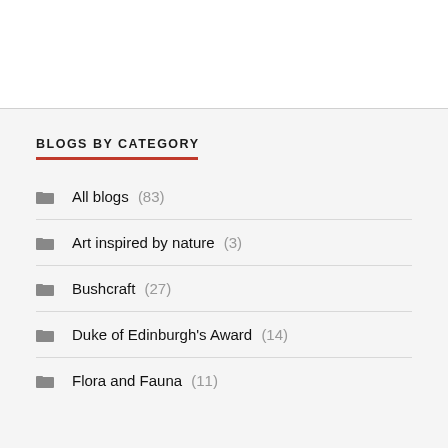BLOGS BY CATEGORY
All blogs (83)
Art inspired by nature (3)
Bushcraft (27)
Duke of Edinburgh's Award (14)
Flora and Fauna (11)